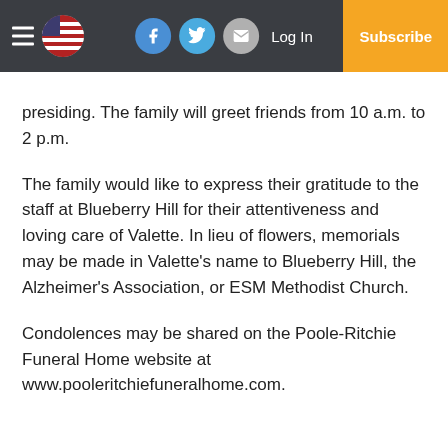☰ [flag] [facebook] [twitter] [email] Log In Subscribe
presiding. The family will greet friends from 10 a.m. to 2 p.m.
The family would like to express their gratitude to the staff at Blueberry Hill for their attentiveness and loving care of Valette. In lieu of flowers, memorials may be made in Valette's name to Blueberry Hill, the Alzheimer's Association, or ESM Methodist Church.
Condolences may be shared on the Poole-Ritchie Funeral Home website at www.pooleritchiefuneralhome.com.